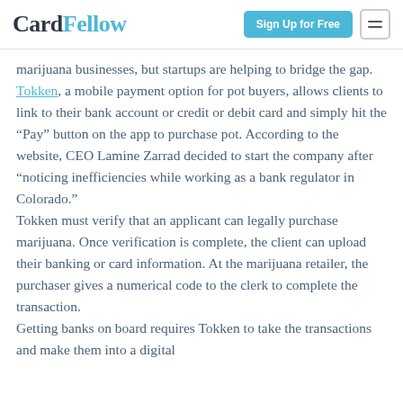CardFellow | Sign Up for Free
marijuana businesses, but startups are helping to bridge the gap. Tokken, a mobile payment option for pot buyers, allows clients to link to their bank account or credit or debit card and simply hit the “Pay” button on the app to purchase pot. According to the website, CEO Lamine Zarrad decided to start the company after “noticing inefficiencies while working as a bank regulator in Colorado.”
Tokken must verify that an applicant can legally purchase marijuana. Once verification is complete, the client can upload their banking or card information. At the marijuana retailer, the purchaser gives a numerical code to the clerk to complete the transaction.
Getting banks on board requires Tokken to take the transactions and make them into a digital